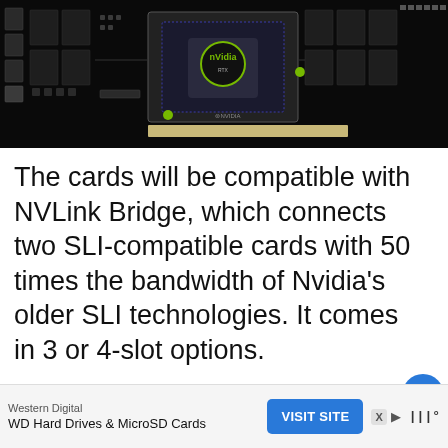[Figure (photo): Close-up photo of an NVIDIA GPU/graphics card PCB showing the NVIDIA chip with logo, memory modules, and circuit board components against a black background]
The cards will be compatible with NVLink Bridge, which connects two SLI-compatible cards with 50 times the bandwidth of Nvidia's older SLI technologies. It comes in 3 or 4-slot options.
All the cards bump the power requir
[Figure (other): Heart/like button UI element (blue circle with heart icon) with count 22]
Western Digital
WD Hard Drives & MicroSD Cards
VISIT SITE